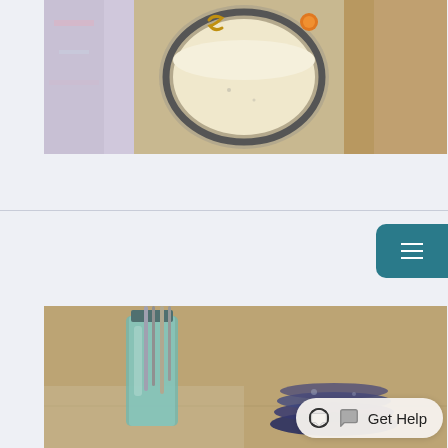[Figure (photo): Top-down view of a smoothie or milkshake in a glass with yellow and orange garnishes, on a colorful background]
Read More
Kefir Fruit Dip
[Figure (photo): Kitchen scene with a blue mason jar holding utensils and stacked dark blue plates on a wooden surface]